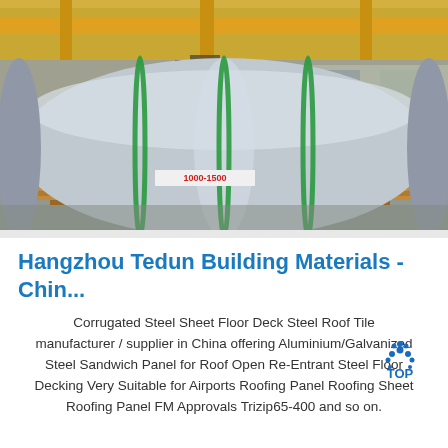[Figure (photo): Large silver metallic coil/roll of steel sheet on a wooden pallet inside an industrial warehouse with orange overhead cranes visible in the background. Green strapping bands cross the roll. A red label reads '1000-1500'.]
Hangzhou Tedun Building Materials - Chin...
Corrugated Steel Sheet Floor Deck Steel Roof Tile manufacturer / supplier in China offering Aluminium/Galvanized Steel Sandwich Panel for Roof Open Re-Entrant Steel Floor Decking Very Suitable for Airports Roofing Panel Roofing Sheet Roofing Panel FM Approvals Trizip65-400 and so on.